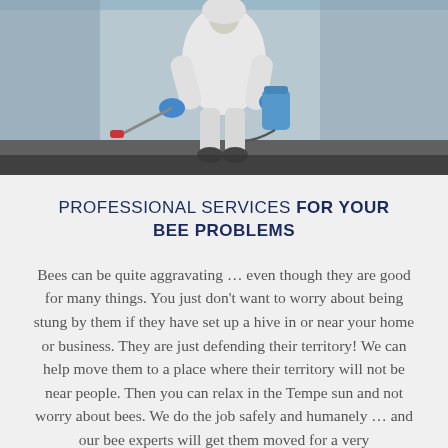[Figure (photo): A pest control worker in a white protective suit and blue gloves, carrying a spray wand and a blue chemical container, walking outdoors.]
PROFESSIONAL SERVICES FOR YOUR BEE PROBLEMS
Bees can be quite aggravating … even though they are good for many things. You just don't want to worry about being stung by them if they have set up a hive in or near your home or business. They are just defending their territory! We can help move them to a place where their territory will not be near people. Then you can relax in the Tempe sun and not worry about bees. We do the job safely and humanely … and our bee experts will get them moved for a very